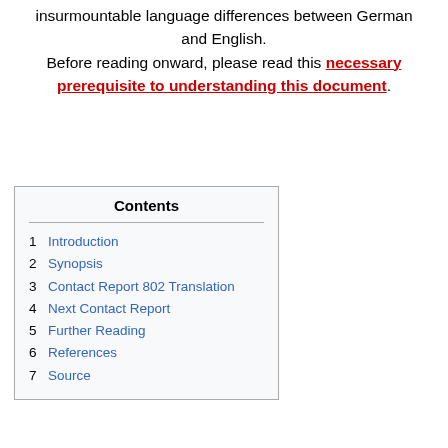insurmountable language differences between German and English. Before reading onward, please read this necessary prerequisite to understanding this document.
| # | Section |
| --- | --- |
| 1 | Introduction |
| 2 | Synopsis |
| 3 | Contact Report 802 Translation |
| 4 | Next Contact Report |
| 5 | Further Reading |
| 6 | References |
| 7 | Source |